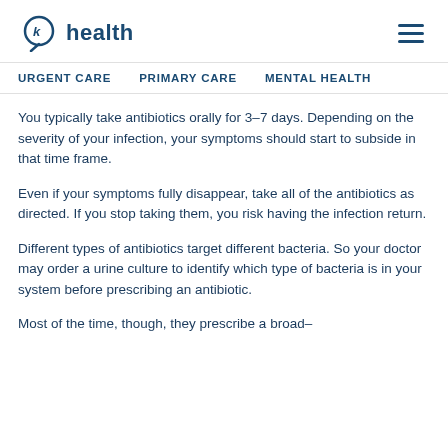k health
URGENT CARE  PRIMARY CARE  MENTAL HEALTH
You typically take antibiotics orally for 3–7 days. Depending on the severity of your infection, your symptoms should start to subside in that time frame.
Even if your symptoms fully disappear, take all of the antibiotics as directed. If you stop taking them, you risk having the infection return.
Different types of antibiotics target different bacteria. So your doctor may order a urine culture to identify which type of bacteria is in your system before prescribing an antibiotic.
Most of the time, though, they prescribe a broad–